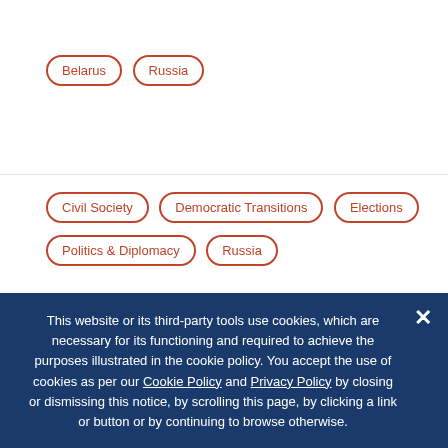Belarus
Russia
Civil Society
Democratic Transitions
Elections
Politics & Diplomacy
Russia
Image: Russians exercise in front of an election poster in Yakutsk, Russia, on September 7, 2021. Photo by Maxim Shemetov/REUTERS/
This website or its third-party tools use cookies, which are necessary for its functioning and required to achieve the purposes illustrated in the cookie policy. You accept the use of cookies as per our Cookie Policy and Privacy Policy by closing or dismissing this notice, by scrolling this page, by clicking a link or button or by continuing to browse otherwise.